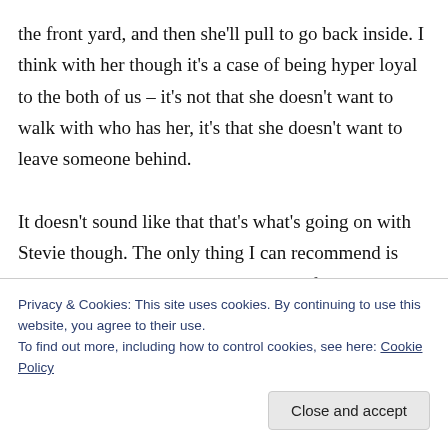the front yard, and then she'll pull to go back inside. I think with her though it's a case of being hyper loyal to the both of us – it's not that she doesn't want to walk with who has her, it's that she doesn't want to leave someone behind.

It doesn't sound like that that's what's going on with Stevie though. The only thing I can recommend is taking baby steps and giving her lots of praise each time she does well. Like when Ben has the leash on walks, he can routinely
Privacy & Cookies: This site uses cookies. By continuing to use this website, you agree to their use.
To find out more, including how to control cookies, see here: Cookie Policy
Close and accept